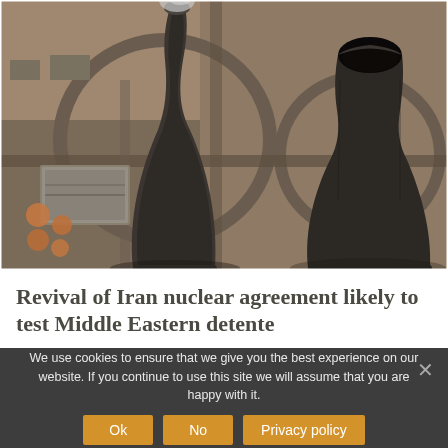[Figure (photo): Aerial photograph of a nuclear power plant showing two large cooling towers viewed from above, surrounded by roads, buildings, and industrial structures in a brown/grey color palette.]
Revival of Iran nuclear agreement likely to test Middle Eastern detente
We use cookies to ensure that we give you the best experience on our website. If you continue to use this site we will assume that you are happy with it.